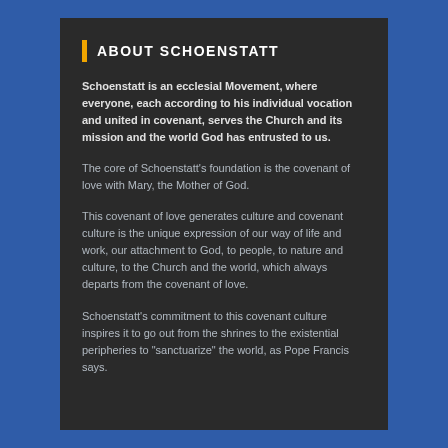ABOUT SCHOENSTATT
Schoenstatt is an ecclesial Movement, where everyone, each according to his individual vocation and united in covenant, serves the Church and its mission and the world God has entrusted to us.
The core of Schoenstatt's foundation is the covenant of love with Mary, the Mother of God.
This covenant of love generates culture and covenant culture is the unique expression of our way of life and work, our attachment to God, to people, to nature and culture, to the Church and the world, which always departs from the covenant of love.
Schoenstatt's commitment to this covenant culture inspires it to go out from the shrines to the existential peripheries to "sanctuarize" the world, as Pope Francis says.